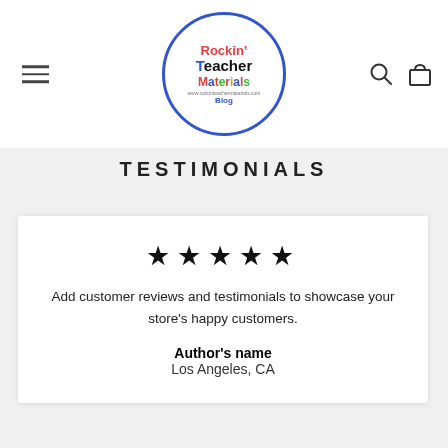[Figure (logo): Rockin' Teacher Materials logo in a blue circle with colorful text]
TESTIMONIALS
★★★★★
Add customer reviews and testimonials to showcase your store's happy customers.
Author's name
Los Angeles, CA